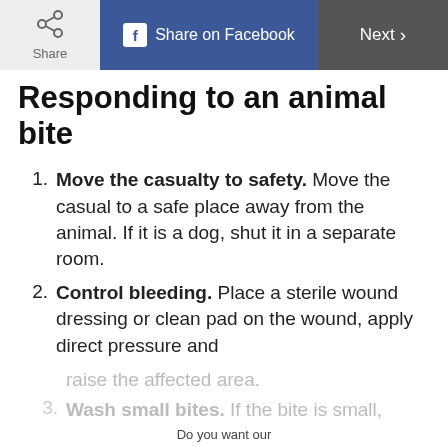Share | Share on Facebook | Next
Responding to an animal bite
Move the casualty to safety. Move the casual to a safe place away from the animal. If it is a dog, shut it in a separate room.
Control bleeding. Place a sterile wound dressing or clean pad on the wound, apply direct pressure and raise the affected area.
Wash small bites. If the bite is small,
Do you want our
Top stories of the day delivered to your inbox?
ADVERTISEMENT
YES PLEASE!